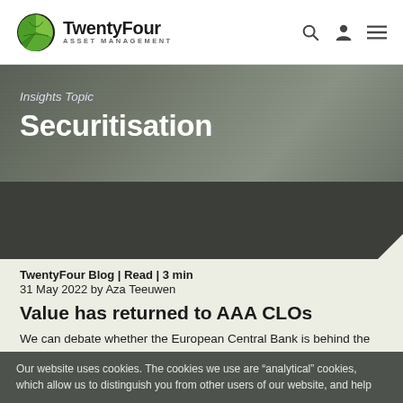TwentyFour Asset Management
[Figure (logo): TwentyFour Asset Management logo with green globe icon]
Insights Topic
Securitisation
[Figure (photo): Dark grey placeholder image for article thumbnail]
TwentyFour Blog | Read | 3 min
31 May 2022 by Aza Teeuwen
Value has returned to AAA CLOs
We can debate whether the European Central Bank is behind the curve or not, but Christine Lagarde says rates will be in
Our website uses cookies. The cookies we use are “analytical” cookies, which allow us to distinguish you from other users of our website, and help